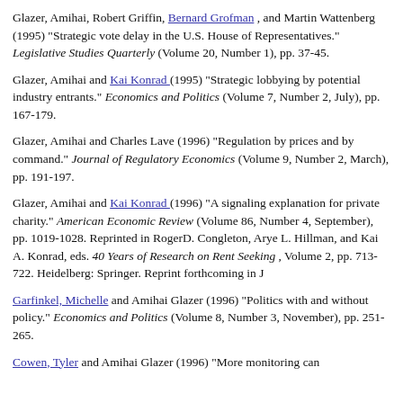Glazer, Amihai, Robert Griffin, Bernard Grofman, and Martin Wattenberg (1995) "Strategic vote delay in the U.S. House of Representatives." Legislative Studies Quarterly (Volume 20, Number 1), pp. 37-45.
Glazer, Amihai and Kai Konrad (1995) "Strategic lobbying by potential industry entrants." Economics and Politics (Volume 7, Number 2, July), pp. 167-179.
Glazer, Amihai and Charles Lave (1996) "Regulation by prices and by command." Journal of Regulatory Economics (Volume 9, Number 2, March), pp. 191-197.
Glazer, Amihai and Kai Konrad (1996) "A signaling explanation for private charity." American Economic Review (Volume 86, Number 4, September), pp. 1019-1028. Reprinted in RogerD. Congleton, Arye L. Hillman, and Kai A. Konrad, eds. 40 Years of Research on Rent Seeking, Volume 2, pp. 713-722. Heidelberg: Springer. Reprint forthcoming in J
Garfinkel, Michelle and Amihai Glazer (1996) "Politics with and without policy." Economics and Politics (Volume 8, Number 3, November), pp. 251-265.
Cowen, Tyler and Amihai Glazer (1996) "More monitoring can"